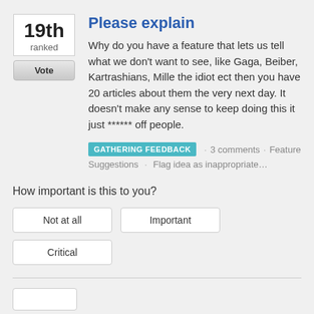Please explain
Why do you have a feature that lets us tell what we don't want to see, like Gaga, Beiber, Kartrashians, Mille the idiot ect then you have 20 articles about them the very next day. It doesn't make any sense to keep doing this it just ****** off people.
GATHERING FEEDBACK · 3 comments · Feature Suggestions · Flag idea as inappropriate…
How important is this to you?
Not at all
Important
Critical